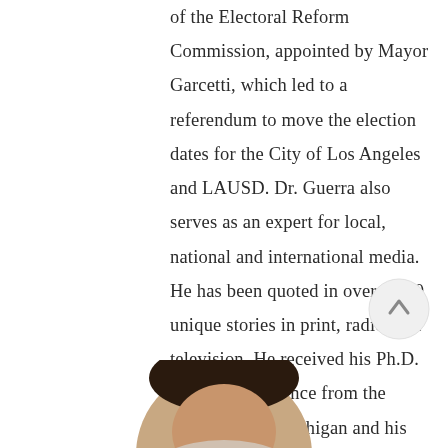of the Electoral Reform Commission, appointed by Mayor Garcetti, which led to a referendum to move the election dates for the City of Los Angeles and LAUSD. Dr. Guerra also serves as an expert for local, national and international media. He has been quoted in over 1,500 unique stories in print, radio, and television. He received his Ph.D. in Political Science from the University of Michigan and his B.A. from the University of Southern California (USC).
[Figure (photo): Circular portrait photo of a person, partially visible at the bottom of the page]